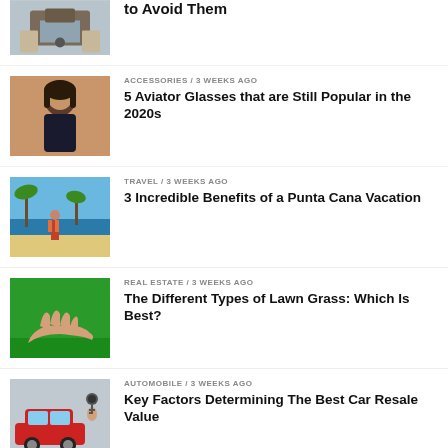[Figure (photo): Partial article image - house/real estate hands]
to Avoid Them (partial title, cropped)
[Figure (photo): Woman wearing aviator glasses]
ACCESSORIES / 3 weeks ago
5 Aviator Glasses that are Still Popular in the 2020s
[Figure (photo): Woman at tropical beach resort - Punta Cana]
TRAVEL / 3 weeks ago
3 Incredible Benefits of a Punta Cana Vacation
[Figure (photo): Hand over green lawn grass]
REAL ESTATE / 3 weeks ago
The Different Types of Lawn Grass: Which Is Best?
[Figure (photo): Car keys being handed over near red car]
AUTOMOBILE / 3 weeks ago
Key Factors Determining The Best Car Resale Value
[Figure (photo): Business article thumbnail - partial]
BUSINESS / 4 weeks ago
The Complete Guide... (partial, cropped)